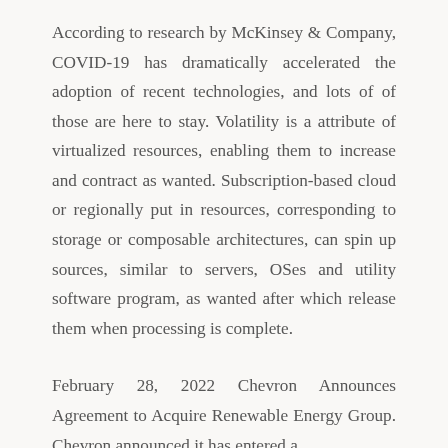According to research by McKinsey & Company, COVID-19 has dramatically accelerated the adoption of recent technologies, and lots of of those are here to stay. Volatility is a attribute of virtualized resources, enabling them to increase and contract as wanted. Subscription-based cloud or regionally put in resources, corresponding to storage or composable architectures, can spin up sources, similar to servers, OSes and utility software program, as wanted after which release them when processing is complete.
February 28, 2022 Chevron Announces Agreement to Acquire Renewable Energy Group. Chevron announced it has entered...